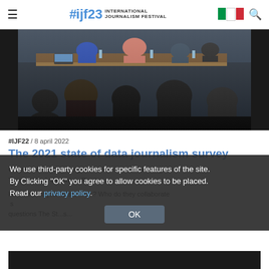#ijf23 INTERNATIONAL JOURNALISM FESTIVAL
[Figure (photo): Audience members sitting with backs to camera watching a panel of speakers at a table in a conference room. Photo from IJF22 event.]
#IJF22 / 8 april 2022
The 2021 state of data journalism survey
Clayton Aldern / Brigitte Alfter / Lars Boering / Tara Kelly / Delphine Reuter
How do data journalists work? Who do they collaborate...
We use third-party cookies for specific features of the site. By Clicking "OK" you agree to allow cookies to be placed. Read our privacy policy.
questions The St...s...